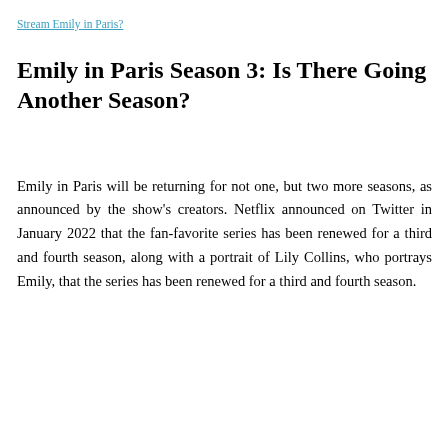Stream Emily in Paris?
Emily in Paris Season 3: Is There Going Another Season?
Emily in Paris will be returning for not one, but two more seasons, as announced by the show's creators. Netflix announced on Twitter in January 2022 that the fan-favorite series has been renewed for a third and fourth season, along with a portrait of Lily Collins, who portrays Emily, that the series has been renewed for a third and fourth season.